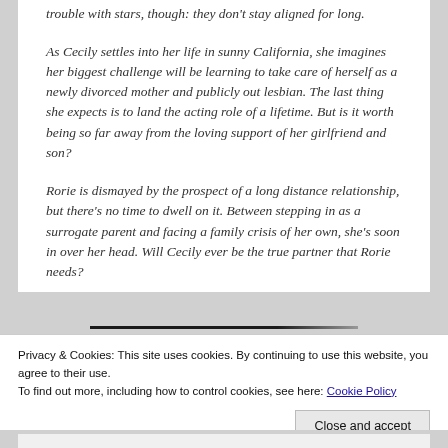trouble with stars, though: they don't stay aligned for long.
As Cecily settles into her life in sunny California, she imagines her biggest challenge will be learning to take care of herself as a newly divorced mother and publicly out lesbian. The last thing she expects is to land the acting role of a lifetime. But is it worth being so far away from the loving support of her girlfriend and son?
Rorie is dismayed by the prospect of a long distance relationship, but there's no time to dwell on it. Between stepping in as a surrogate parent and facing a family crisis of her own, she's soon in over her head. Will Cecily ever be the true partner that Rorie needs?
Privacy & Cookies: This site uses cookies. By continuing to use this website, you agree to their use.
To find out more, including how to control cookies, see here: Cookie Policy
Close and accept